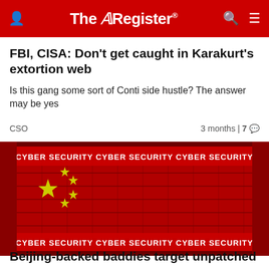The Register
FBI, CISA: Don't get caught in Karakurt's extortion web
Is this gang some sort of Conti side hustle? The answer may be yes
CSO   3 months | 7
[Figure (photo): Cyber security themed image showing Chinese flag with 'CYBER SECURITY' text repeated in 3D block lettering across the image on red and dark background]
Beijing-backed baddies target unpatched